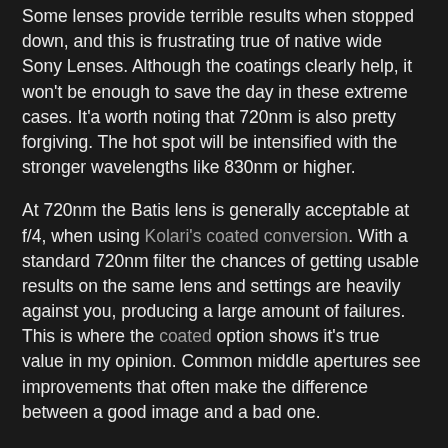Some lenses provide terrible results when stopped down, and this is frustrating true of native wide Sony Lenses. Although the coatings clearly help, it won't be enough to save the day in these extreme cases. It'a worth noting that 720nm is also pretty forgiving. The hot spot will be intensified with the stronger wavelengths like 830nm or higher.
At 720nm the Batis lens is generally acceptable at f/4, when using Kolari's coated conversion. With a standard 720nm filter the chances of getting usable results on the same lens and settings are heavily against you, producing a large amount of failures. This is where the coated option shows it's true value in my opinion. Common middle apertures see improvements that often make the difference between a good image and a bad one.
Vignetting
You may have noticed that there is significantly more vignetting on the normal filter. In some small part this may be due to the improved hot spot, but there is another big reason why this is happening. As well as the AR coating this